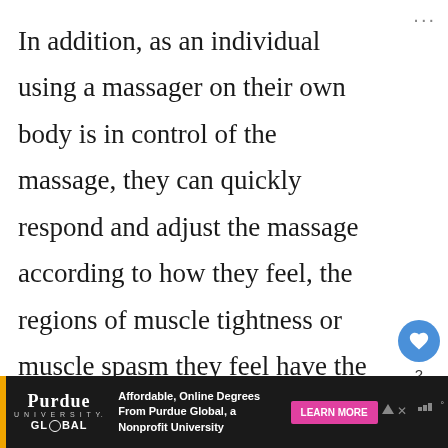In addition, as an individual using a massager on their own body is in control of the massage, they can quickly respond and adjust the massage according to how they feel, the regions of muscle tightness or muscle spasm they feel have the most tension, and regions of
[Figure (other): Social media UI elements: heart/like button (blue circle with heart icon), like count '2', and share button (grey circle with share icon)]
[Figure (other): Advertisement banner for Purdue University Global: 'Affordable, Online Degrees From Purdue Global, a Nonprofit University' with LEARN MORE button in pink/magenta]